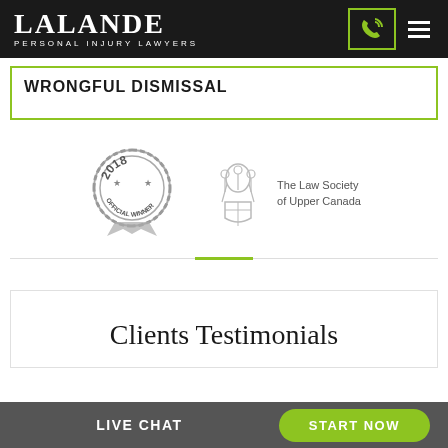LALANDE PERSONAL INJURY LAWYERS
WRONGFUL DISMISSAL
[Figure (logo): 2018 award badge - Official Winner seal]
[Figure (logo): The Law Society of Upper Canada logo with crest illustration]
Clients Testimonials
LIVE CHAT   START NOW